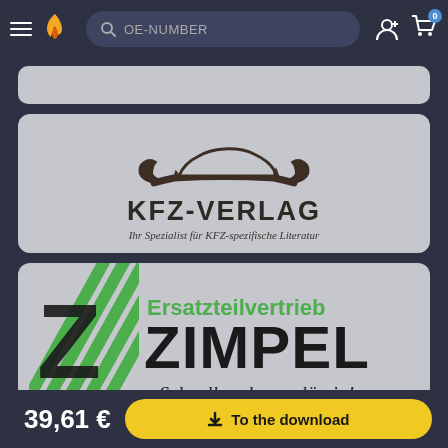[Figure (screenshot): Website header navigation bar with hamburger menu, flame logo, OE-NUMBER search bar, user icon, and shopping cart with badge 0]
[Figure (logo): Partially visible grey card at top]
[Figure (logo): KFZ-VERLAG logo card: car silhouette over wrench, text KFZ-VERLAG, tagline Ihr Spezialist für KFZ-spezifische Literatur]
[Figure (logo): Ersatzteilvertrieb ZIMPEL logo card with green diagonal stripes, large Z, tagline Schnell und zuverlässig!]
39,61 €
To the download